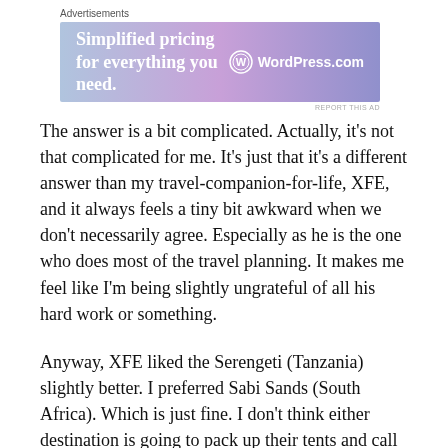[Figure (other): WordPress.com advertisement banner with text 'Simplified pricing for everything you need.' and WordPress.com logo on a purple-blue gradient background]
The answer is a bit complicated. Actually, it's not that complicated for me. It's just that it's a different answer than my travel-companion-for-life, XFE, and it always feels a tiny bit awkward when we don't necessarily agree. Especially as he is the one who does most of the travel planning. It makes me feel like I'm being slightly ungrateful of all his hard work or something.
Anyway, XFE liked the Serengeti (Tanzania) slightly better. I preferred Sabi Sands (South Africa). Which is just fine. I don't think either destination is going to pack up their tents and call it a day based on our meager little preferences. And guess what? Neither of them would bite at all. So do/it sure. No, I don't